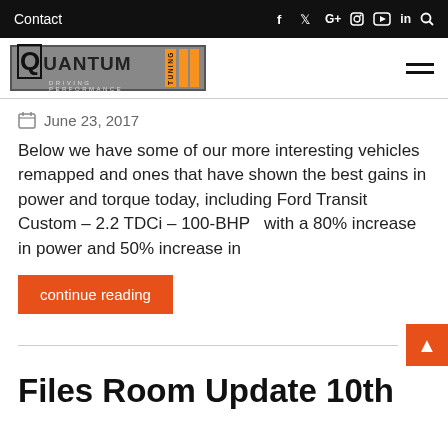Contact  [social icons: Facebook, Twitter, G+, Instagram, YouTube, LinkedIn, Search]
[Figure (logo): Quantum Tuning - Driving Performance logo with orange stripes]
June 23, 2017
Below we have some of our more interesting vehicles remapped and ones that have shown the best gains in power and torque today, including Ford Transit Custom – 2.2 TDCi – 100-BHP  with a 80% increase in power and 50% increase in
continue reading
Files Room Update 10th